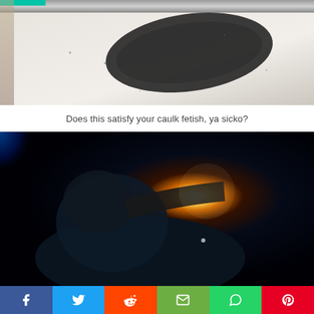[Figure (photo): Close-up photo of a white car door frame with a black rubber/caulk door seal visible, along with some dirt/debris on the white painted surface]
Does this satisfy your caulk fetish, ya sicko?
[Figure (photo): Dark photo of a person working with a bright light/torch in a dark space, possibly under a car or in a tight dark area, with blue light visible in the background corner]
[Figure (other): Social media share bar with buttons for Facebook, Twitter, Reddit, Email, WhatsApp, and Pinterest]